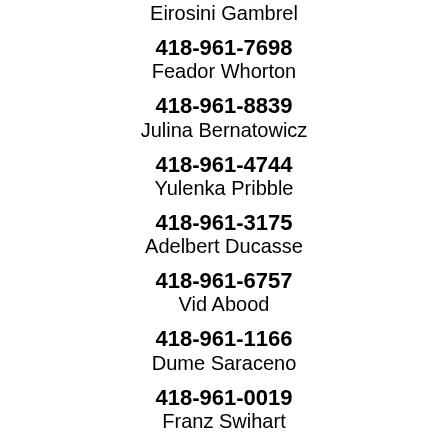Eirosini Gambrel
418-961-7698
Feador Whorton
418-961-8839
Julina Bernatowicz
418-961-4744
Yulenka Pribble
418-961-3175
Adelbert Ducasse
418-961-6757
Vid Abood
418-961-1166
Dume Saraceno
418-961-0019
Franz Swihart
418-961-0189
Garrett Wolgast
418-961-8858